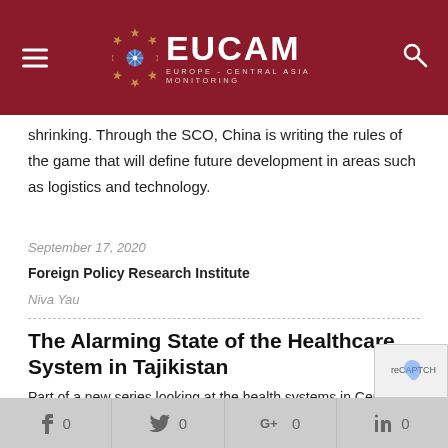EUCAM — EUROPE - CENTRAL ASIA MONITORING
shrinking. Through the SCO, China is writing the rules of the game that will define future development in areas such as logistics and technology.
September 17, 2020
Foreign Policy Research Institute
Niva Yau
The Alarming State of the Healthcare System in Tajikistan
Part of a new series looking at the health systems in Central Asia which aims to highlight issues related to human development in Central Asia impacting on state security in the region, this paper examines the ongoing challenges in the healthcare system in Tajikistan.
f 0   t 0   G+ 0   in 0